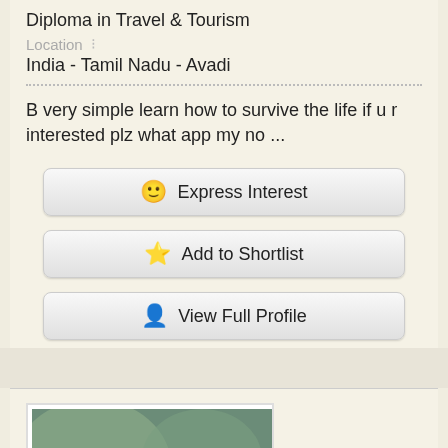Diploma in Travel & Tourism
Location
India - Tamil Nadu - Avadi
B very simple learn how to survive the life if u r interested plz what app my no ...
Express Interest
Add to Shortlist
View Full Profile
[Figure (photo): Profile photo of a young man with beard, sitting in a car, wearing dark clothing, taken as a selfie-style photo]